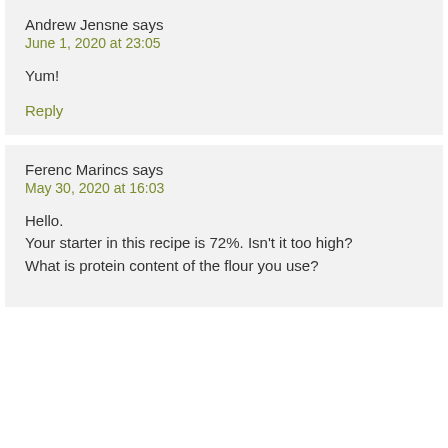Andrew Jensne says
June 1, 2020 at 23:05
Yum!
Reply
Ferenc Marincs says
May 30, 2020 at 16:03
Hello.
Your starter in this recipe is 72%. Isn't it too high?
What is protein content of the flour you use?